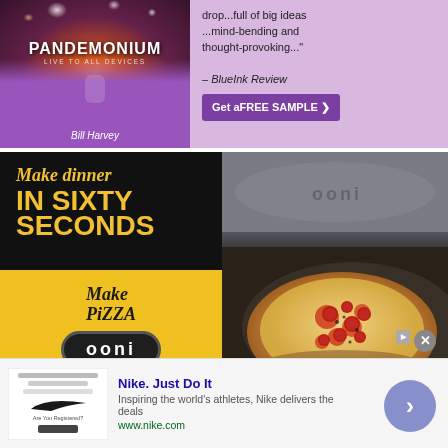[Figure (illustration): Pandemonium book ad with purple background showing a crowd scene, book cover with text PANDEMONIUM LIVE TO ALL DEVICES by Bill Harvey, with a review quote from BlueInk Review and a Get a FREE SAMPLE button]
...full of big ideas ...mind-bending and thought-provoking..." – BlueInk Review
[Figure (illustration): Ooni pizza oven advertisement with black background. Left side shows Make dinner IN SIXTY SECONDS in yellow text on dark background, and Make PIZZA with ooni logo on yellow background. Right side shows photo of a pizza on an ooni pizza stone/oven peel.]
[Figure (illustration): Nike advertisement banner at bottom with Nike thumbnail image on left, Nike. Just Do It headline, description text Inspiring the world's athletes, Nike delivers the deals, www.nike.com URL, and a circular arrow button on the right. Has an X close button and Ad badge.]